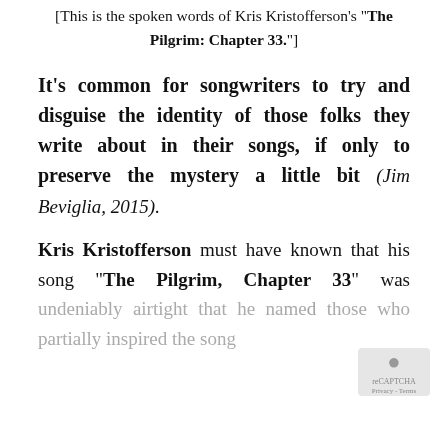[This is the spoken words of Kris Kristofferson's "The Pilgrim: Chapter 33."]
It's common for songwriters to try and disguise the identity of those folks they write about in their songs, if only to preserve the mystery a little bit (Jim Beviglia, 2015).
Kris Kristofferson must have known that his song "The Pilgrim, Chapter 33" was undeniably airtight that he named those who partially inspired the so...